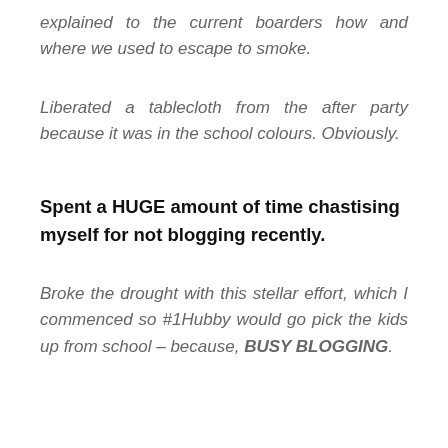explained to the current boarders how and where we used to escape to smoke.
Liberated a tablecloth from the after party because it was in the school colours. Obviously.
Spent a HUGE amount of time chastising myself for not blogging recently.
Broke the drought with this stellar effort, which I commenced so #1Hubby would go pick the kids up from school – because, BUSY BLOGGING.